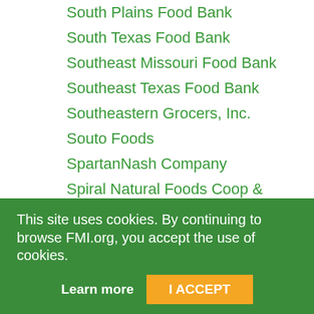South Plains Food Bank
South Texas Food Bank
Southeast Missouri Food Bank
Southeast Texas Food Bank
Southeastern Grocers, Inc.
Souto Foods
SpartanNash Company
Spiral Natural Foods Coop & Grocery
Springfield Food Co-op
Sprouts Farmers Market, Inc.
St. Louis Area Food Bank
St. Mary's Food Bank Alliance
This site uses cookies. By continuing to browse FMI.org, you accept the use of cookies.
Learn more
I ACCEPT